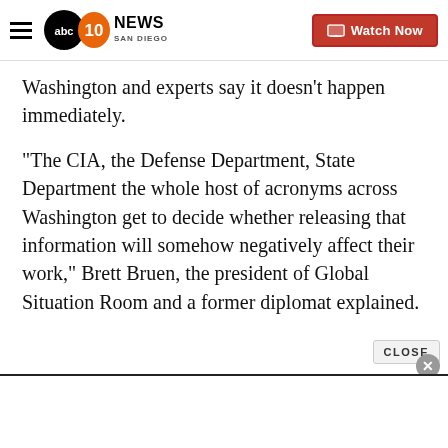ABC 10News San Diego — Watch Now
Washington and experts say it doesn't happen immediately.
"The CIA, the Defense Department, State Department the whole host of acronyms across Washington get to decide whether releasing that information will somehow negatively affect their work," Brett Bruen, the president of Global Situation Room and a former diplomat explained.